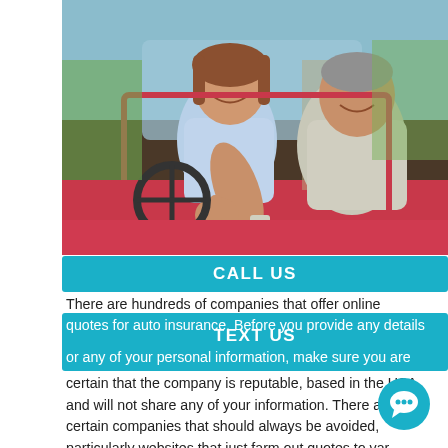[Figure (photo): Middle-aged couple smiling in a red car, man in driver seat giving thumbs up, woman in passenger seat with arm around him]
CALL US
There are hundreds of companies that offer online quotes for auto insurance. Before you provide any details
TEXT US
or any of your personal information, make sure you are certain that the company is reputable, based in the USA, and will not share any of your information. There are certain companies that should always be avoided, particularly websites that just farm out quotes to var